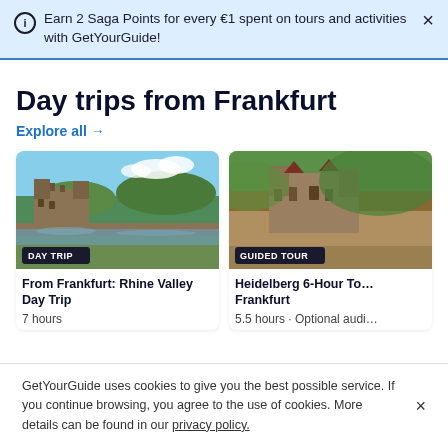Earn 2 Saga Points for every €1 spent on tours and activities with GetYourGuide!
Day trips from Frankfurt
Explore all →
[Figure (photo): A medieval castle on a hillside overlooking the Rhine Valley with green hills and river in background. Badge: DAY TRIP. Title: From Frankfurt: Rhine Valley Day Trip. Duration: 7 hours.]
[Figure (photo): Aerial view of Heidelberg old town and castle. Badge: GUIDED TOUR. Title: Heidelberg 6-Hour Tour from Frankfurt. Duration: 5.5 hours • Optional audi...]
GetYourGuide uses cookies to give you the best possible service. If you continue browsing, you agree to the use of cookies. More details can be found in our privacy policy.